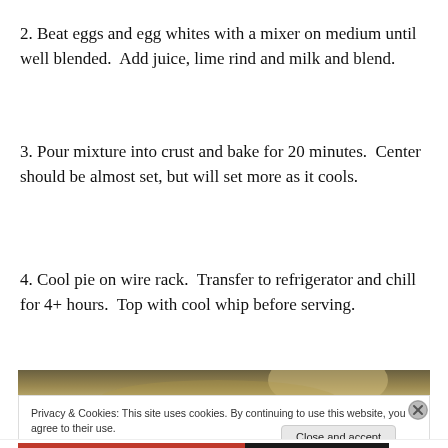2. Beat eggs and egg whites with a mixer on medium until well blended.  Add juice, lime rind and milk and blend.
3. Pour mixture into crust and bake for 20 minutes.  Center should be almost set, but will set more as it cools.
4. Cool pie on wire rack.  Transfer to refrigerator and chill for 4+ hours.  Top with cool whip before serving.
[Figure (photo): Partial view of a pie or food item, warm olive/gold tones, photograph cropped to a strip]
Privacy & Cookies: This site uses cookies. By continuing to use this website, you agree to their use.
To find out more, including how to control cookies, see here: Cookie Policy
Close and accept